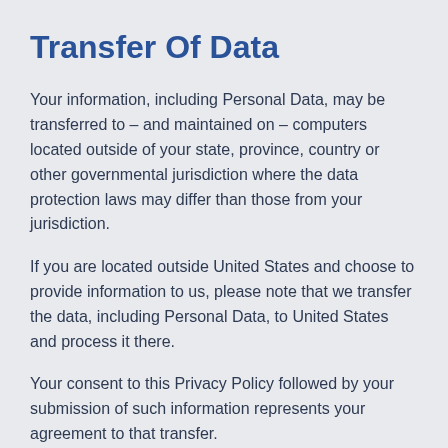Transfer Of Data
Your information, including Personal Data, may be transferred to – and maintained on – computers located outside of your state, province, country or other governmental jurisdiction where the data protection laws may differ than those from your jurisdiction.
If you are located outside United States and choose to provide information to us, please note that we transfer the data, including Personal Data, to United States and process it there.
Your consent to this Privacy Policy followed by your submission of such information represents your agreement to that transfer.
SAFESTAR will take all steps reasonably necessary to